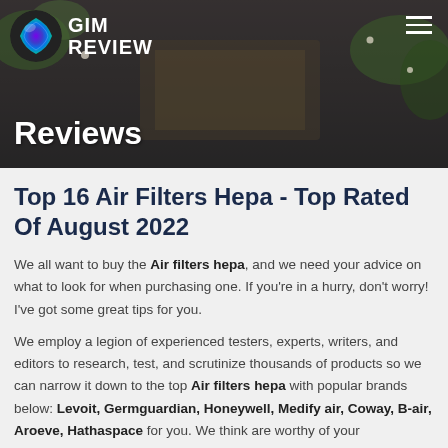GIM REVIEW
Reviews
Top 16 Air Filters Hepa - Top Rated Of August 2022
We all want to buy the Air filters hepa, and we need your advice on what to look for when purchasing one. If you're in a hurry, don't worry! I've got some great tips for you.
We employ a legion of experienced testers, experts, writers, and editors to research, test, and scrutinize thousands of products so we can narrow it down to the top Air filters hepa with popular brands below: Levoit, Germguardian, Honeywell, Medify air, Coway, B-air, Aroeve, Hathaspace for you. We think are worthy of your